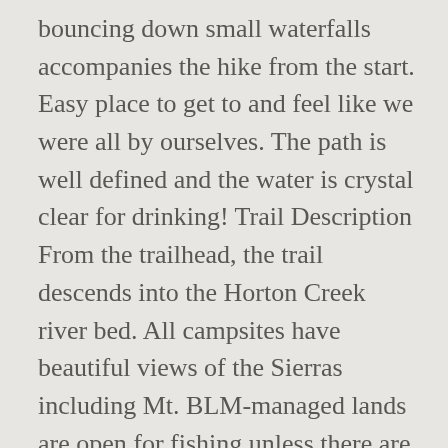bouncing down small waterfalls accompanies the hike from the start. Easy place to get to and feel like we were all by ourselves. The path is well defined and the water is crystal clear for drinking! Trail Description From the trailhead, the trail descends into the Horton Creek river bed. All campsites have beautiful views of the Sierras including Mt. BLM-managed lands are open for fishing unless there are sight-specific closures for resource protection purposes. Horton Creek Trail and Derrick Trail have been substantially improved. Tom and Wheeler Crest in the Sierra Nevada Range. Horton Spring is an unusually large spring. Horton Creek Trail is located approximately 84 miles east of